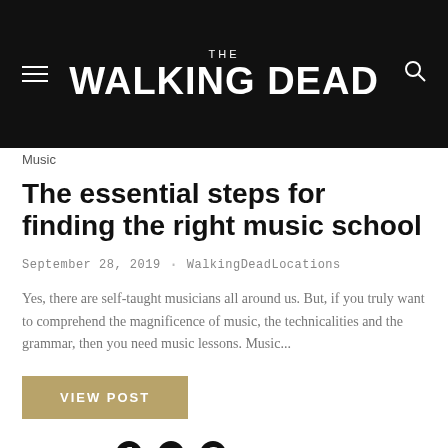THE WALKING DEAD
Music
The essential steps for finding the right music school
September 28, 2019 · WalkingDeadLocations
Yes, there are self-taught musicians all around us. But, if you truly want to comprehend the magnificence of music, the technicalities and the grammar, then you need music lessons. Music...
VIEW POST
SHARE